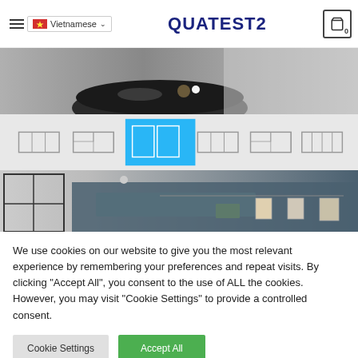Vietnamese | QUATEST2 | Cart 0
[Figure (photo): Top banner photo showing a dark round table with coffee cup and tray on a light background]
[Figure (other): Slider navigation with 6 layout thumbnail icons, center one highlighted in blue]
[Figure (photo): Interior room photo with dark blue painted wall, window with grid panes, hanging photos on a wire, and spotlight]
We use cookies on our website to give you the most relevant experience by remembering your preferences and repeat visits. By clicking "Accept All", you consent to the use of ALL the cookies. However, you may visit "Cookie Settings" to provide a controlled consent.
Cookie Settings
Accept All